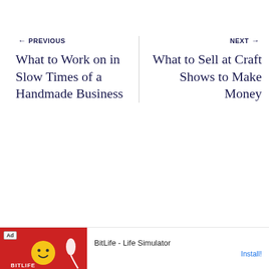← PREVIOUS
What to Work on in Slow Times of a Handmade Business
NEXT →
What to Sell at Craft Shows to Make Money
[Figure (screenshot): Advertisement banner for BitLife - Life Simulator app with red background, cartoon character, and Install button]